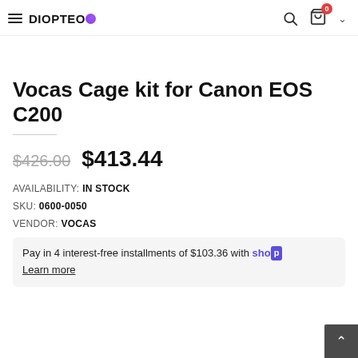DIOPTEO — navigation with search, cart (0 items), and menu icon
Vocas Cage kit for Canon EOS C200
$426.00 $413.44
AVAILABILITY: IN STOCK
SKU: 0600-0050
VENDOR: VOCAS
Pay in 4 interest-free installments of $103.36 with Shop
Learn more